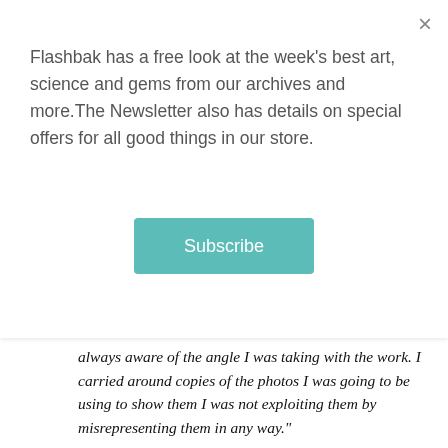Flashbak has a free look at the week's best art, science and gems from our archives and more.The Newsletter also has details on special offers for all good things in our store.
Subscribe
always aware of the angle I was taking with the work. I carried around copies of the photos I was going to be using to show them I was not exploiting them by misrepresenting them in any way."
In 1983 Iain found his passion (apart from photography) in helping others. From 1983 until a few months before his death he worked as Social Worker in various positions where he felt he was able to help the homeless and men and women whose drug and alcohol use had become a problem to both themselves and their families.
Whilst working as a social worker Iain continued indulging in